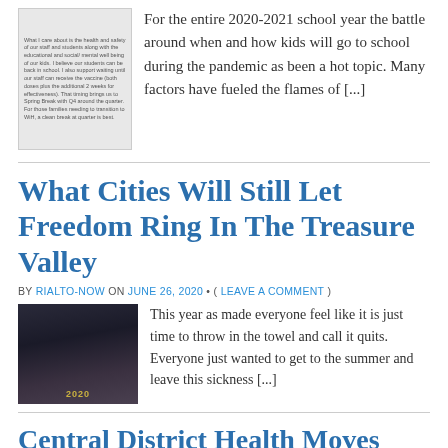[Figure (photo): Small thumbnail image with dense text about health and safety of staff and students, school return policy during COVID.]
For the entire 2020-2021 school year the battle around when and how kids will go to school during the pandemic as been a hot topic. Many factors have fueled the flames of [...]
What Cities Will Still Let Freedom Ring In The Treasure Valley
BY RIALTO-NOW ON JUNE 26, 2020 • ( LEAVE A COMMENT )
[Figure (photo): Dark image showing people in an office/hallway setting with a '2020' label overlay.]
This year as made everyone feel like it is just time to throw in the towel and call it quits. Everyone just wanted to get to the summer and leave this sickness [...]
Central District Health Moves Ada County Back to Stage 3
BY RIALTO-NOW ON JUNE 24, 2020 • ( LEAVE A COMMENT )
[Figure (photo): Partial image at bottom of page, partially cut off.]
In a recent move the decision to move Ada...